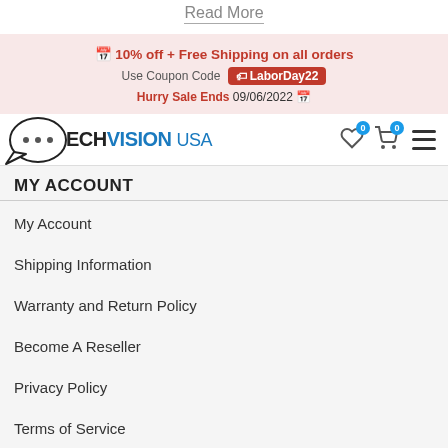Read More
📅 10% off + Free Shipping on all orders
Use Coupon Code LaborDay22
Hurry Sale Ends 09/06/2022 📅
TECHVISION USA — My Account
MY ACCOUNT
My Account
Shipping Information
Warranty and Return Policy
Become A Reseller
Privacy Policy
Terms of Service
RESOURCES